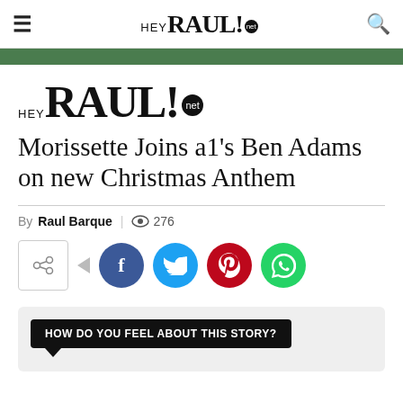HEY RAUL! .net
[Figure (logo): HeyRaul.net logo with large serif RAUL text and .net badge]
Morissette Joins a1's Ben Adams on new Christmas Anthem
By Raul Barque | 276 views
[Figure (infographic): Social share buttons: share box with arrow, Facebook, Twitter, Pinterest, WhatsApp]
HOW DO YOU FEEL ABOUT THIS STORY?